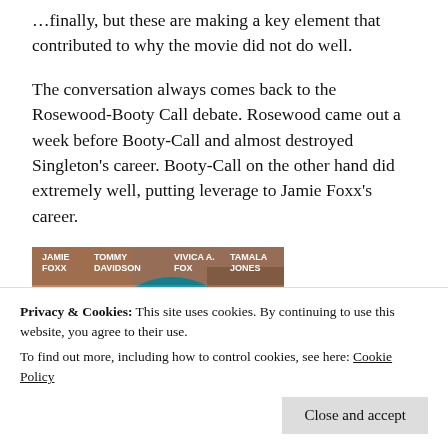…finally, but these are making a key element that contributed to why the movie did not do well.
The conversation always comes back to the Rosewood-Booty Call debate. Rosewood came out a week before Booty-Call and almost destroyed Singleton's career. Booty-Call on the other hand did extremely well, putting leverage to Jamie Foxx's career.
[Figure (photo): Movie poster for Booty Call featuring Jamie Foxx, Tommy Davidson, Vivica A. Fox, and Tamala Jones with tagline 'Some guys will do anything for a little something.']
Privacy & Cookies: This site uses cookies. By continuing to use this website, you agree to their use.
To find out more, including how to control cookies, see here: Cookie Policy
Close and accept